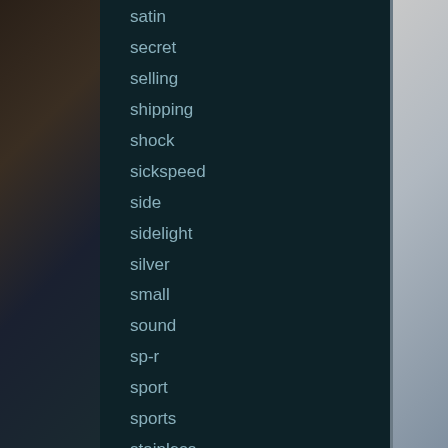satin
secret
selling
shipping
shock
sickspeed
side
sidelight
silver
small
sound
sp-r
sport
sports
stainless
stingray
style
super
supreme